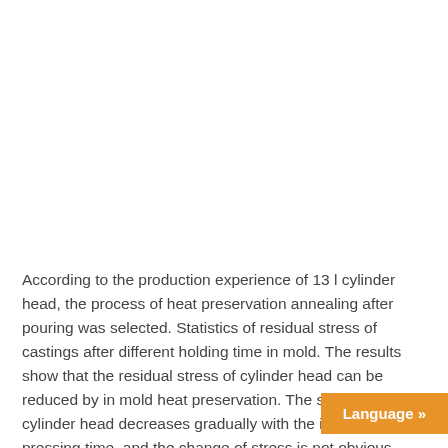According to the production experience of 13 l cylinder head, the process of heat preservation annealing after pouring was selected. Statistics of residual stress of castings after different holding time in mold. The results show that the residual stress of cylinder head can be reduced by in mold heat preservation. The stress of cylinder head decreases gradually with the increase of pressing time, and the change of stress is not obvious when the pressing time increases from 7 h to 10 h; However, the time of pressing box decreased from 7 h to 6 h, and the stress increased obviously; Five carried out, and the stress at 2-3 points of each cylinder